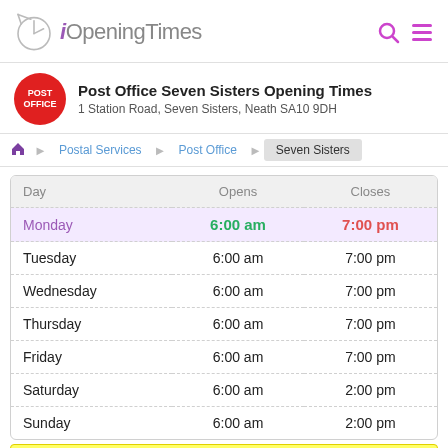iOpeningTimes
Post Office Seven Sisters Opening Times
1 Station Road, Seven Sisters, Neath SA10 9DH
| Day | Opens | Closes |
| --- | --- | --- |
| Monday | 6:00 am | 7:00 pm |
| Tuesday | 6:00 am | 7:00 pm |
| Wednesday | 6:00 am | 7:00 pm |
| Thursday | 6:00 am | 7:00 pm |
| Friday | 6:00 am | 7:00 pm |
| Saturday | 6:00 am | 2:00 pm |
| Sunday | 6:00 am | 2:00 pm |
Note: Opening hours may vary during the holidays - check with your local store before travelling
Post Office Seven Sisters is open Monday-Friday during the week, on weekends they are open Saturday and Sunday. Today they are open